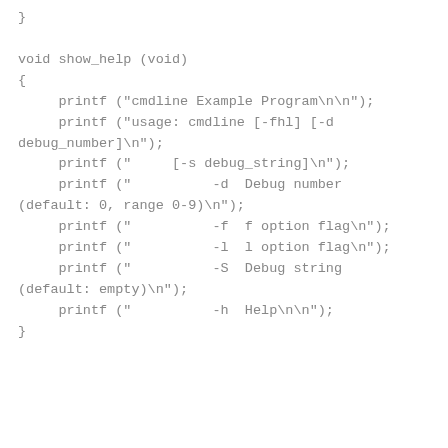}

void show_help (void)
{
     printf ("cmdline Example Program\n\n");
     printf ("usage: cmdline [-fhl] [-d debug_number]\n");
     printf ("     [-s debug_string]\n");
     printf ("          -d  Debug number (default: 0, range 0-9)\n");
     printf ("          -f  f option flag\n");
     printf ("          -l  l option flag\n");
     printf ("          -S  Debug string (default: empty)\n");
     printf ("          -h  Help\n\n");
}